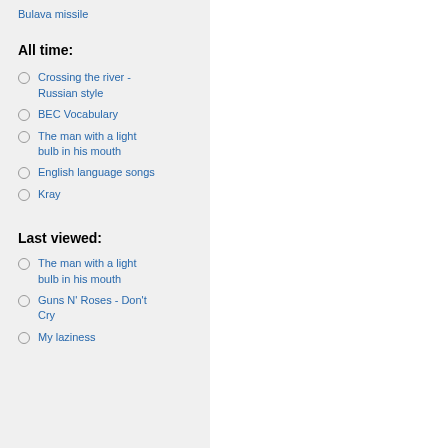Bulava missile
All time:
Crossing the river - Russian style
BEC Vocabulary
The man with a light bulb in his mouth
English language songs
Kray
Last viewed:
The man with a light bulb in his mouth
Guns N' Roses - Don't Cry
My laziness